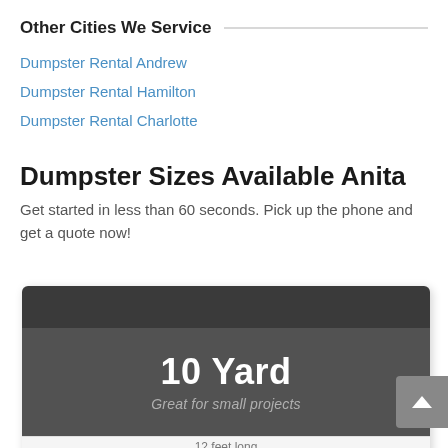Other Cities We Service
Dumpster Rental Andrew
Dumpster Rental Hamilton
Dumpster Rental Charlotte
Dumpster Sizes Available Anita
Get started in less than 60 seconds. Pick up the phone and get a quote now!
[Figure (infographic): Dark card showing '10 Yard' dumpster size with subtitle 'Great for small projects' and footer text '12 feet long']